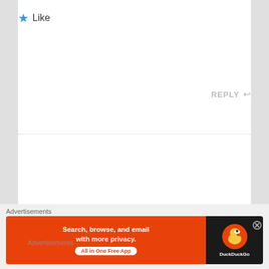★ Like
REPLY ↩
Advertisements
[Figure (screenshot): WordPress advertisement: 'Business in the front...' text on light background with WordPress branding on orange gradient bar]
Advertisements
[Figure (screenshot): DuckDuckGo advertisement: 'Search, browse, and email with more privacy. All in One Free App' on orange background with DuckDuckGo logo on dark background]